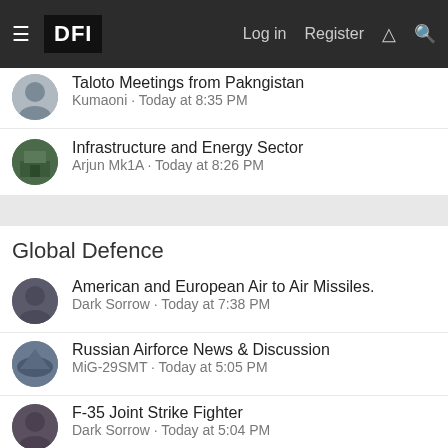DFI | Log in | Register
Taloto Meetings from Pakngistan
Kumaoni · Today at 8:35 PM
Infrastructure and Energy Sector
Arjun Mk1A · Today at 8:26 PM
Global Defence
American and European Air to Air Missiles.
Dark Sorrow · Today at 7:38 PM
Russian Airforce News & Discussion
MiG-29SMT · Today at 5:05 PM
F-35 Joint Strike Fighter
Dark Sorrow · Today at 5:04 PM
Small arms and Light Weapons
NotASussyBoi · Today at 5:01 PM
Sukhoi PAK FA
Super Flanker · Monday at 1:21 PM